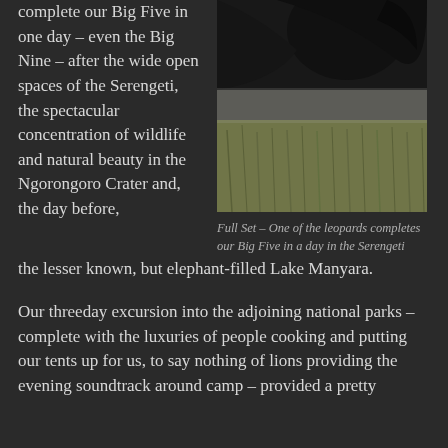complete our Big Five in one day – even the Big Nine – after the wide open spaces of the Serengeti, the spectacular concentration of wildlife and natural beauty in the Ngorongoro Crater and, the day before, the lesser known, but elephant-filled Lake Manyara.
[Figure (photo): Close-up photo of a leopard from below, showing dark fur at top and grass in the background. Misty, moody atmosphere.]
Full Set – One of the leopards completes our Big Five in a day in the Serengeti
Our threeday excursion into the adjoining national parks – complete with the luxuries of people cooking and putting our tents up for us, to say nothing of lions providing the evening soundtrack around camp – provided a pretty